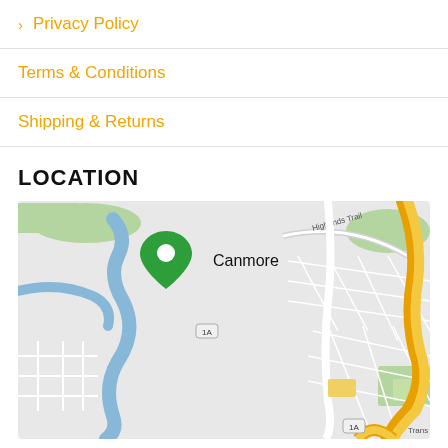> Privacy Policy
Terms & Conditions
Shipping & Returns
LOCATION
[Figure (map): Google Maps view of Canmore, Alberta showing roads including Trans-Canada Highway (yellow), Route 1A, Highands Trail, a river, green areas, and a location pin marker over Canmore town area.]